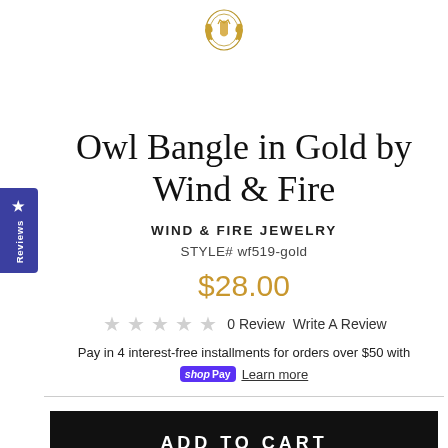[Figure (logo): Gold decorative crest/logo at top center of page]
Owl Bangle in Gold by Wind & Fire
WIND & FIRE JEWELRY
STYLE# wf519-gold
$28.00
0 Review   Write A Review
Pay in 4 interest-free installments for orders over $50 with shop Pay Learn more
ADD TO CART